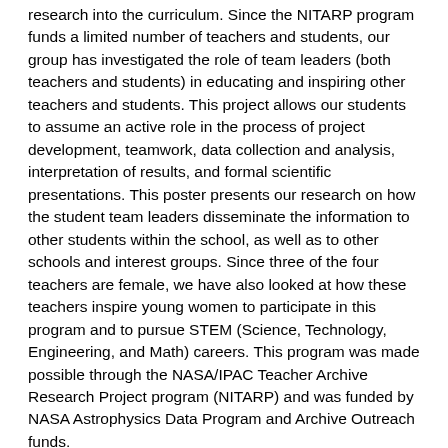research into the curriculum. Since the NITARP program funds a limited number of teachers and students, our group has investigated the role of team leaders (both teachers and students) in educating and inspiring other teachers and students. This project allows our students to assume an active role in the process of project development, teamwork, data collection and analysis, interpretation of results, and formal scientific presentations. This poster presents our research on how the student team leaders disseminate the information to other students within the school, as well as to other schools and interest groups. Since three of the four teachers are female, we have also looked at how these teachers inspire young women to participate in this program and to pursue STEM (Science, Technology, Engineering, and Math) careers. This program was made possible through the NASA/IPAC Teacher Archive Research Project program (NITARP) and was funded by NASA Astrophysics Data Program and Archive Outreach funds.
If it would be easier, we can work with a Word document. Please let me know your preference. --CJohnson 10:53, 21 September 2011 (PDT)
LOVE. IT. :) --Rebull 12:51, 21 September 2011 (PDT)
Science Poster Abstract. version 1.0 Found near the edges of HII regions, bright-rimmed clouds (BRCs) are thought to be home to triggered star formation. Using Spitzer Space Telescope archival data, we investigated BRC 27 and BRC 34 to search for previously known and new...